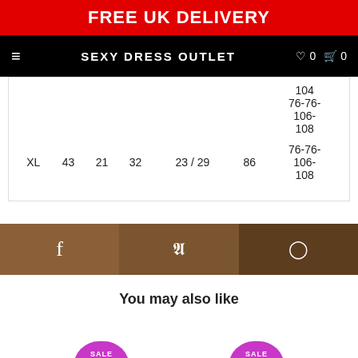FREE UK DELIVERY
SEXY DRESS OUTLET  ♡0  🛒 0
| XL | 43 | 21 | 32 | 23 / 29 | 86 | 104
76-76-
106-
108 |
[Figure (infographic): Social sharing bar with Facebook, Twitter, Pinterest buttons in brown tones]
You may also like
[Figure (infographic): Bottom of page showing two partially visible magenta product circles]